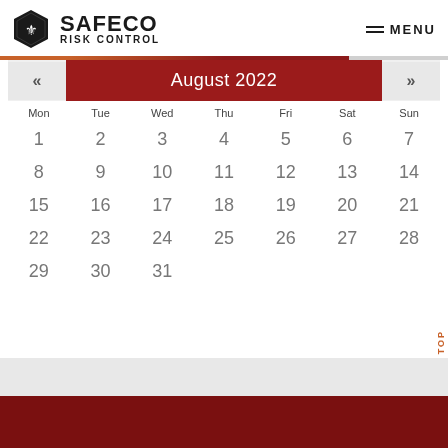[Figure (logo): Safeco Risk Control logo with hexagonal emblem and bold text]
MENU
| Mon | Tue | Wed | Thu | Fri | Sat | Sun |
| --- | --- | --- | --- | --- | --- | --- |
| 1 | 2 | 3 | 4 | 5 | 6 | 7 |
| 8 | 9 | 10 | 11 | 12 | 13 | 14 |
| 15 | 16 | 17 | 18 | 19 | 20 | 21 |
| 22 | 23 | 24 | 25 | 26 | 27 | 28 |
| 29 | 30 | 31 |  |  |  |  |